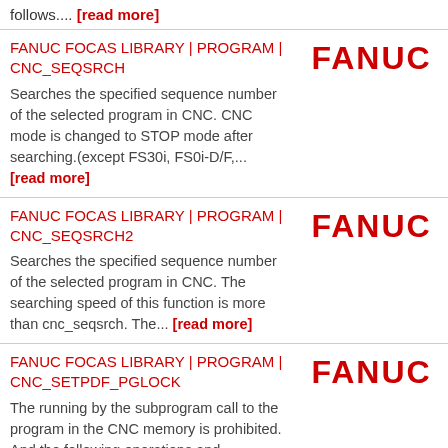follows.... [read more]
FANUC FOCAS LIBRARY | PROGRAM | CNC_SEQSRCH
Searches the specified sequence number of the selected program in CNC. CNC mode is changed to STOP mode after searching.(except FS30i, FS0i-D/F,... [read more]
[Figure (logo): FANUC logo in bold red text]
FANUC FOCAS LIBRARY | PROGRAM | CNC_SEQSRCH2
Searches the specified sequence number of the selected program in CNC. The searching speed of this function is more than cnc_seqsrch. The... [read more]
[Figure (logo): FANUC logo in bold red text]
FANUC FOCAS LIBRARY | PROGRAM | CNC_SETPDF_PGLOCK
The running by the subprogram call to the program in the CNC memory is prohibited. And the following operations and
[Figure (logo): FANUC logo in bold red text]